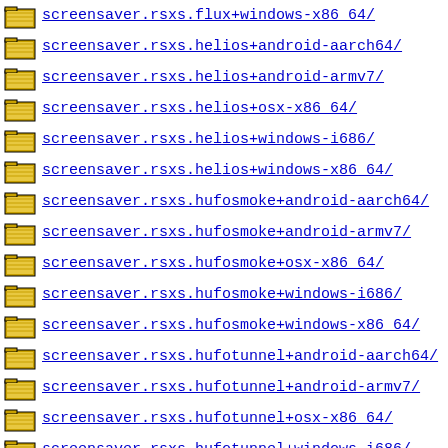screensaver.rsxs.flux+windows-x86_64/
screensaver.rsxs.helios+android-aarch64/
screensaver.rsxs.helios+android-armv7/
screensaver.rsxs.helios+osx-x86_64/
screensaver.rsxs.helios+windows-i686/
screensaver.rsxs.helios+windows-x86_64/
screensaver.rsxs.hufosmoke+android-aarch64/
screensaver.rsxs.hufosmoke+android-armv7/
screensaver.rsxs.hufosmoke+osx-x86_64/
screensaver.rsxs.hufosmoke+windows-i686/
screensaver.rsxs.hufosmoke+windows-x86_64/
screensaver.rsxs.hufotunnel+android-aarch64/
screensaver.rsxs.hufotunnel+android-armv7/
screensaver.rsxs.hufotunnel+osx-x86_64/
screensaver.rsxs.hufotunnel+windows-i686/
screensaver.rsxs.hufotunnel+windows-x86_64/
screensaver.rsxs.hyperspace+android-aarch64/
screensaver.rsxs.hyperspace+android-armv7/